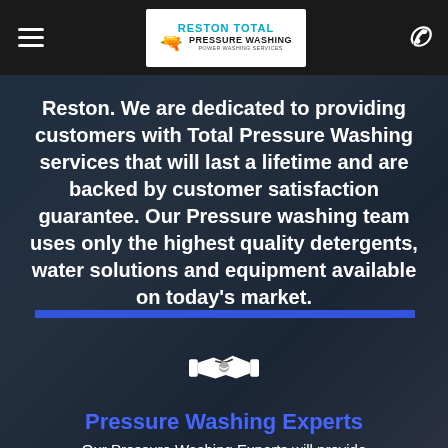Reston Total Pressure Washing — Navigation header with hamburger menu and phone icon
Reston. We are dedicated to providing customers with Total Pressure Washing services that will last a lifetime and are backed by customer satisfaction guarantee. Our Pressure washing team uses only the highest quality detergents, water solutions and equipment available on today's market.
[Figure (illustration): Handshake icon in white]
Pressure Washing Experts
Our Pressure Washing Experts will provide